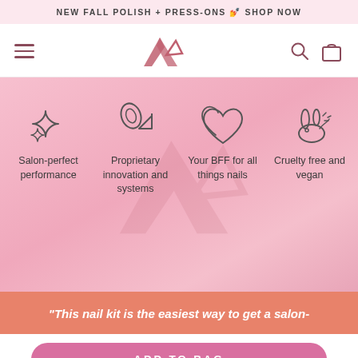NEW FALL POLISH + PRESS-ONS 💅 SHOP NOW
[Figure (screenshot): Navigation bar with hamburger menu, brand logo (stylized & symbol), search icon, and shopping bag icon]
[Figure (infographic): Four icon feature section on pink gradient background: sparkle stars icon (Salon-perfect performance), nail polish bottle/triangle icon (Proprietary innovation and systems), two hearts icon (Your BFF for all things nails), cruelty-free bunny icon (Cruelty free and vegan)]
"This nail kit is the easiest way to get a salon-
ADD TO BAG